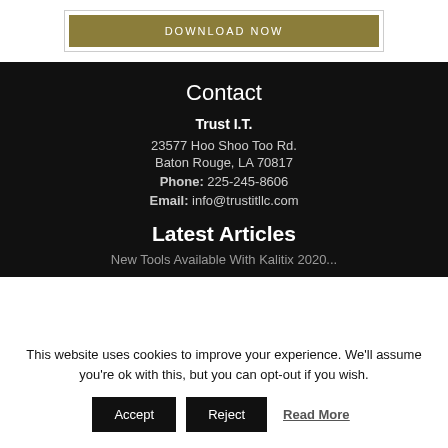[Figure (other): Download Now button in gold/olive color inside a bordered box]
Contact
Trust I.T.
23577 Hoo Shoo Too Rd.
Baton Rouge, LA 70817
Phone: 225-245-8606
Email: info@trustitllc.com
Latest Articles
New Tools Available With Kalitix 2020...
This website uses cookies to improve your experience. We'll assume you're ok with this, but you can opt-out if you wish.